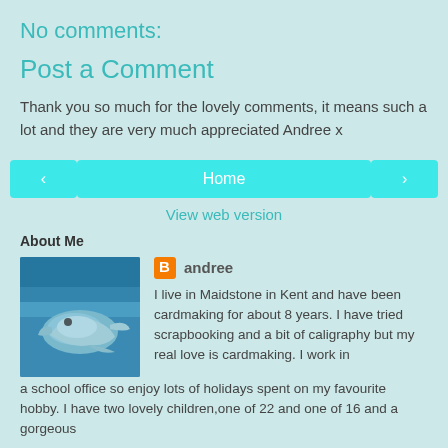No comments:
Post a Comment
Thank you so much for the lovely comments, it means such a lot and they are very much appreciated Andree x
< | Home | >
View web version
About Me
[Figure (photo): Profile photo of a dolphin in blue water]
andree
I live in Maidstone in Kent and have been cardmaking for about 8 years. I have tried scrapbooking and a bit of caligraphy but my real love is cardmaking. I work in a school office so enjoy lots of holidays spent on my favourite hobby. I have two lovely children,one of 22 and one of 16 and a gorgeous